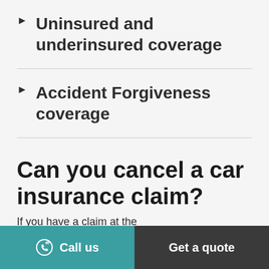► Uninsured and underinsured coverage
► Accident Forgiveness coverage
Can you cancel a car insurance claim?
If you have a claim at the...
Call us | Get a quote